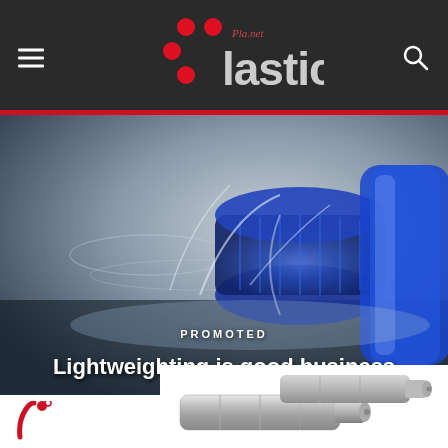Plastics Planet.net
[Figure (photo): A blue plastic bottle cap with water splashing around it on a gray background]
PROMOTED
Lightweighting is good business
[Figure (logo): Red curved brand logo mark]
[Figure (photo): Metal actuator/aerosol nozzle components on white background]